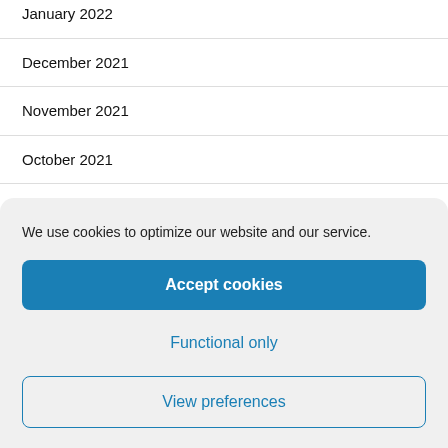January 2022
December 2021
November 2021
October 2021
September 2021
August 2021
We use cookies to optimize our website and our service.
Accept cookies
Functional only
View preferences